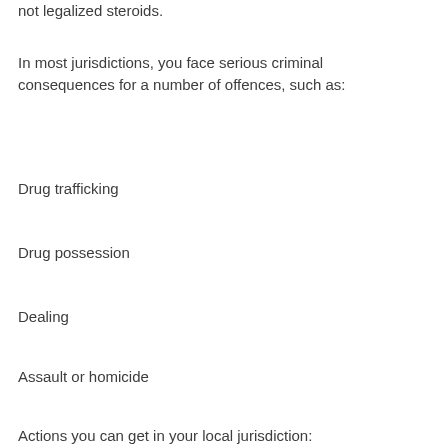not legalized steroids.
In most jurisdictions, you face serious criminal consequences for a number of offences, such as:
Drug trafficking
Drug possession
Dealing
Assault or homicide
Actions you can get in your local jurisdiction:
Sending an order of protection to the steroid owner or purchasers
Buying steroids bali